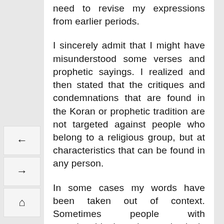need to revise my expressions from earlier periods.
I sincerely admit that I might have misunderstood some verses and prophetic sayings. I realized and then stated that the critiques and condemnations that are found in the Koran or prophetic tradition are not targeted against people who belong to a religious group, but at characteristics that can be found in any person.
In some cases my words have been taken out of context. Sometimes people with questionable intentions selectively extract statements from my speeches and writings without regard to the context or circumstances. My efforts for interfaith dialogue were criticized as softening Muslims' perspectives on Jews and Christians. I